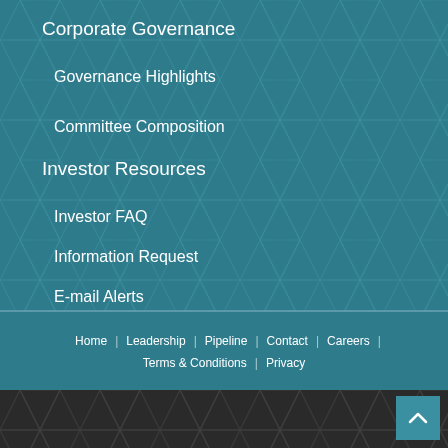Corporate Governance
Governance Highlights
Committee Composition
Investor Resources
Investor FAQ
Information Request
E-mail Alerts
IR Contacts
Home | Leadership | Pipeline | Contact | Careers | Terms & Conditions | Privacy